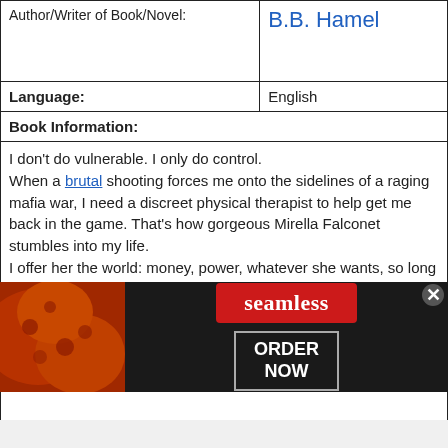| Author/Writer of Book/Novel: | B.B. Hamel |
| --- | --- |
| Language: | English |
| Book Information: |  |
I don't do vulnerable. I only do control.
When a brutal shooting forces me onto the sidelines of a raging mafia war, I need a discreet physical therapist to help get me back in the game. That's how gorgeous Mirella Falconet stumbles into my life.
I offer her the world: money, power, whatever she wants, so long as she keeps her mouth shut and does her job. I can't let my enemies know the extent of my injuries, not right now.
Except she hates me. Her black rage is like a palpable wave. The
[Figure (infographic): Seamless food delivery advertisement banner with pizza image on left, Seamless logo in red badge center, and ORDER NOW button on right with close button]